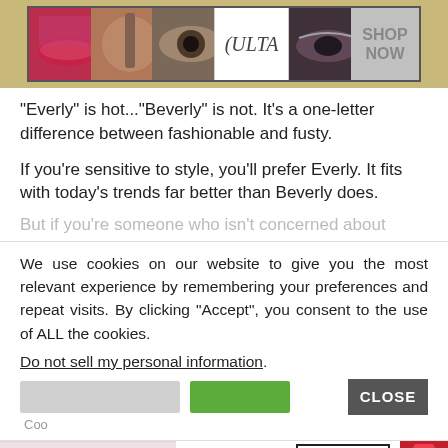[Figure (screenshot): Ulta Beauty advertisement banner with beauty photos and SHOP NOW button]
“Everly” is hot...“Beverly” is not. It’s a one-letter difference between fashionable and fusty.
If you’re sensitive to style, you’ll prefer Everly. It fits with today’s trends far better than Beverly does.
But if you’re someone who isn’t concerned about
We use cookies on our website to give you the most relevant experience by remembering your preferences and repeat visits. By clicking “Accept”, you consent to the use of ALL the cookies.
Do not sell my personal information.
[Figure (screenshot): Cookie consent buttons: Cookie Settings, Accept, and CLOSE button]
[Figure (screenshot): MAC cosmetics advertisement banner with lipsticks and SHOP NOW button]